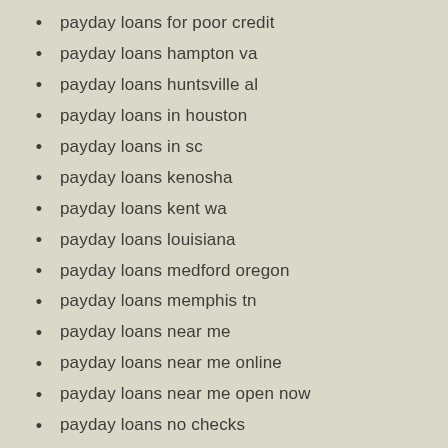payday loans for poor credit
payday loans hampton va
payday loans huntsville al
payday loans in houston
payday loans in sc
payday loans kenosha
payday loans kent wa
payday loans louisiana
payday loans medford oregon
payday loans memphis tn
payday loans near me
payday loans near me online
payday loans near me open now
payday loans no checks
payday loans online no credit check